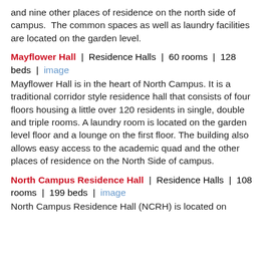and nine other places of residence on the north side of campus.  The common spaces as well as laundry facilities are located on the garden level.
Mayflower Hall | Residence Halls | 60 rooms | 128 beds | image
Mayflower Hall is in the heart of North Campus. It is a traditional corridor style residence hall that consists of four floors housing a little over 120 residents in single, double and triple rooms. A laundry room is located on the garden level floor and a lounge on the first floor. The building also allows easy access to the academic quad and the other places of residence on the North Side of campus.
North Campus Residence Hall | Residence Halls | 108 rooms | 199 beds | image
North Campus Residence Hall (NCRH) is located on